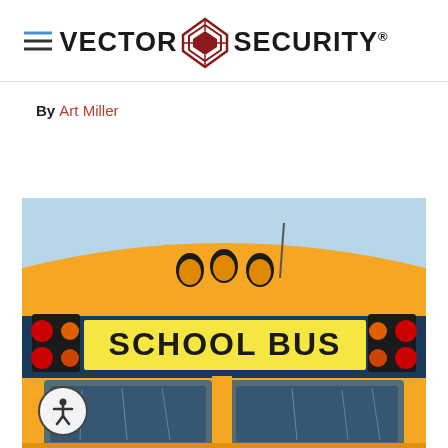VECTOR SECURITY®
By Art Miller
[Figure (photo): Front view of a yellow school bus with 'SCHOOL BUS' sign, red and amber lights on top, blue sky background, interior visible through windshield.]